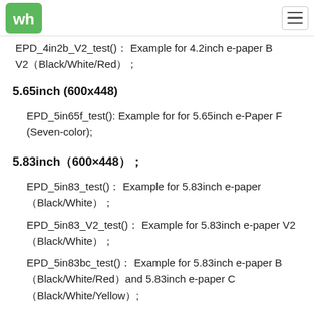Waveshare logo and navigation menu
EPD_4in2b_V2_test(): Example for 4.2inch e-paper B V2（Black/White/Red）；
5.65inch (600x448)
EPD_5in65f_test(): Example for for 5.65inch e-Paper F (Seven-color);
5.83inch（600×448）；
EPD_5in83_test()： Example for 5.83inch e-paper （Black/White）；
EPD_5in83_V2_test()： Example for 5.83inch e-paper V2 （Black/White）；
EPD_5in83bc_test()： Example for 5.83inch e-paper B （Black/White/Red）and 5.83inch e-paper C （Black/White/Yellow）;